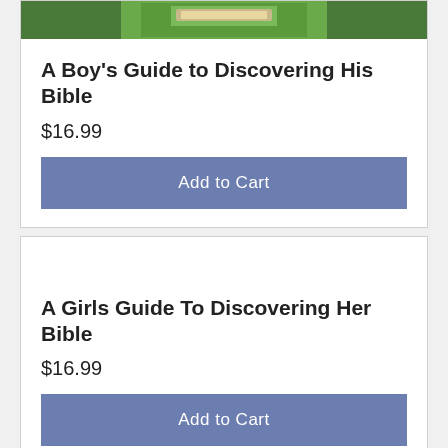[Figure (photo): Top portion of a book cover showing a Bible on grass (partially cropped at top of page)]
A Boy's Guide to Discovering His Bible
$16.99
Add to Cart
A Girls Guide To Discovering Her Bible
$16.99
Add to Cart
[Figure (photo): Book cover with blue background showing text: YOU ALWAYS HAVE A FRIEND IN JESUS (partially cropped at bottom)]